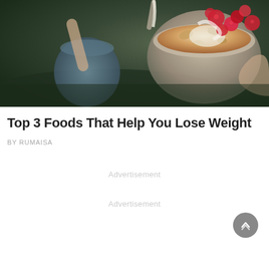[Figure (photo): Overhead/side view of hands holding a glass bowl filled with granola, yogurt, and fresh raspberries, next to a mug, dark moody food photography background]
Top 3 Foods That Help You Lose Weight
BY RUMAISA
Advertisement
Advertisement